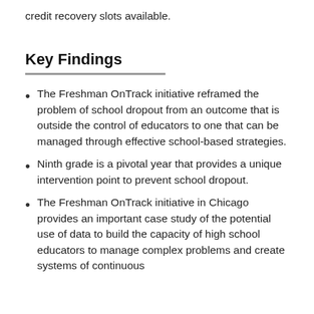credit recovery slots available.
Key Findings
The Freshman OnTrack initiative reframed the problem of school dropout from an outcome that is outside the control of educators to one that can be managed through effective school-based strategies.
Ninth grade is a pivotal year that provides a unique intervention point to prevent school dropout.
The Freshman OnTrack initiative in Chicago provides an important case study of the potential use of data to build the capacity of high school educators to manage complex problems and create systems of continuous